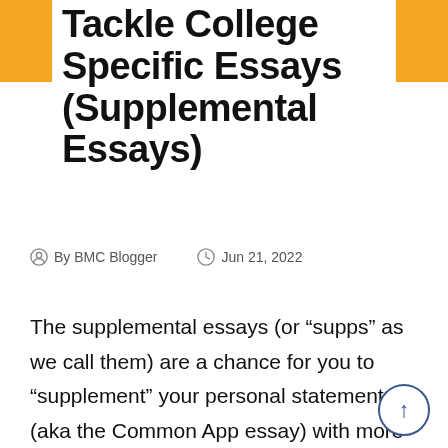Tackle College Specific Essays (Supplemental Essays)
By BMC Blogger   Jun 21, 2022
The supplemental essays (or “supps” as we call them) are a chance for you to “supplement” your personal statement (aka the Common App essay) with more information about who you are and what makes you tick. Although many supps ask you to write about seemingly straightforward topics, like your extracurriculars or academics,